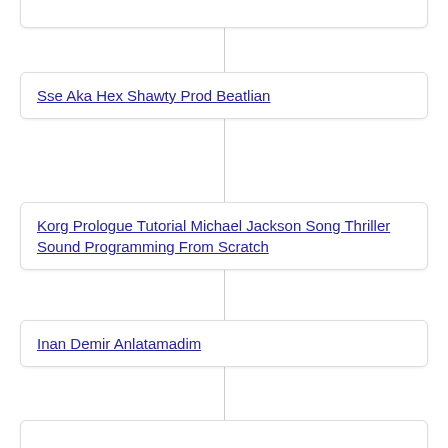Sse Aka Hex Shawty Prod Beatlian
Korg Prologue Tutorial Michael Jackson Song Thriller Sound Programming From Scratch
Inan Demir Anlatamadim
Mr Credo
Quarterfinals 91kg Torrez Richard Usa Vs Jalolov Bakhodir Uzb Aiba World 2019